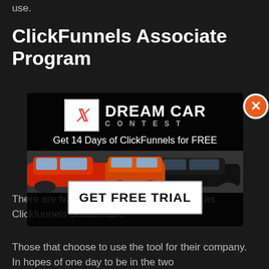use.
ClickFunnels Associate Program
[Figure (screenshot): A popup overlay on a dark background showing a ClickFunnels Dream Car Contest banner with logo, tagline 'Get 14 Days of ClickFunnels for FREE', cars image, and a white 'GET FREE TRIAL' button. A close (X) button in orange appears at the upper right of the popup.]
There are two main paths individuals drop as Clickfunnels Subdomain.
Those that choose to use the tool for their company. In hopes of one day to be in the two